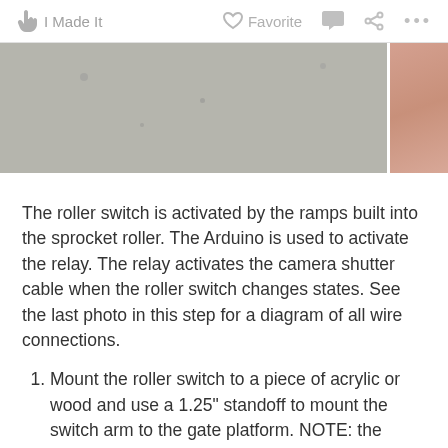I Made It   Favorite   ...
[Figure (photo): Two photos side by side: a grey/concrete textured surface on the left occupying most of the width, and a partial view of a pink/skin-toned surface on the right.]
The roller switch is activated by the ramps built into the sprocket roller. The Arduino is used to activate the relay. The relay activates the camera shutter cable when the roller switch changes states. See the last photo in this step for a diagram of all wire connections.
Mount the roller switch to a piece of acrylic or wood and use a 1.25" standoff to mount the switch arm to the gate platform. NOTE: the standoff height changes depending on the gauge of film your scanning. A higher standoff is used for 16mm than 35mm - depending on how accurate